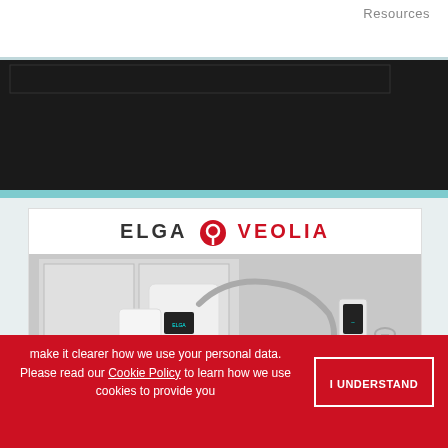Resources
[Figure (screenshot): Dark/black navigation bar area of a website]
[Figure (photo): ELGA Veolia advertisement showing a laboratory water purification unit - white device with red accent tube and flexible hose on a lab bench]
make it clearer how we use your personal data.
Please read our Cookie Policy to learn how we use cookies to provide you
I UNDERSTAND
[Figure (logo): Somalogic advertisement: The proteomics platform that leads to pioneering discoveries]
ADVERTISEMENT